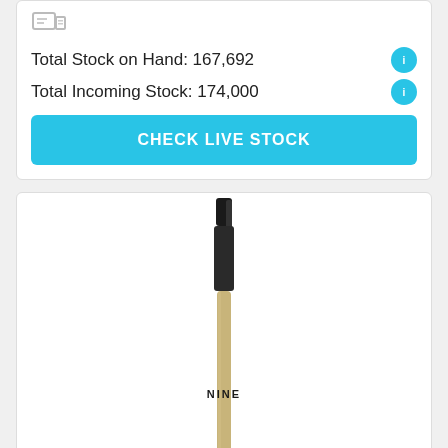Total Stock on Hand: 167,692
Total Incoming Stock: 174,000
CHECK LIVE STOCK
[Figure (photo): A ballpoint pen with a gold/tan barrel and black clip/grip section, with 'NINE' text printed vertically on the barrel, shown vertically oriented]